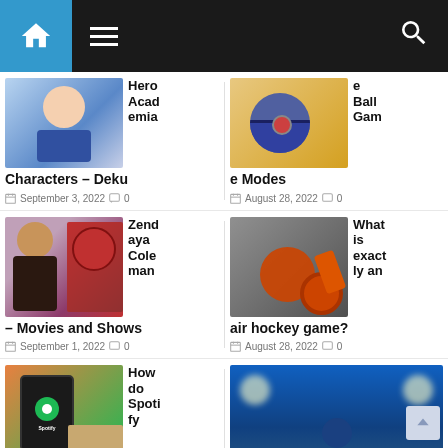Navigation bar with home, menu, and search icons
[Figure (screenshot): My Hero Academia character Deku anime art]
Hero Academia Characters – Deku
September 3, 2022   0
[Figure (screenshot): Pokemon ball on wooden surface]
e Ball Game Modes
August 28, 2022   0
[Figure (photo): Zendaya Coleman and Spider-Man collage]
Zendaya Coleman – Movies and Shows
September 1, 2022   0
[Figure (photo): Air hockey puck and paddle on table]
What is exactly an air hockey game?
August 28, 2022   0
[Figure (photo): Spotify app on smartphone with laptop]
How do Spotify
[Figure (photo): Soccer player celebrating in stadium]